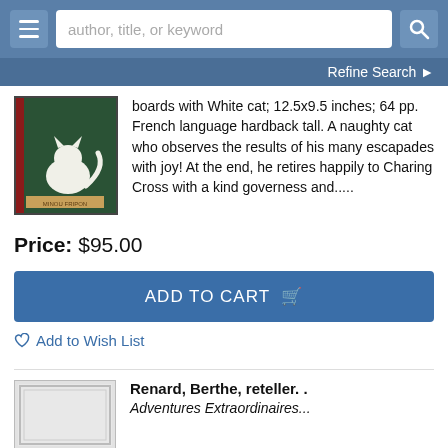[Figure (screenshot): Website header with hamburger menu button, search bar with placeholder 'author, title, or keyword', and search icon button]
Refine Search ❯
[Figure (photo): Book cover showing a white cat on a dark green background]
boards with White cat; 12.5x9.5 inches; 64 pp. French language hardback tall. A naughty cat who observes the results of his many escapades with joy! At the end, he retires happily to Charing Cross with a kind governess and.....
Price: $95.00
ADD TO CART
♡ Add to Wish List
Renard, Berthe, reteller. .
Adventures Extraordinaires...